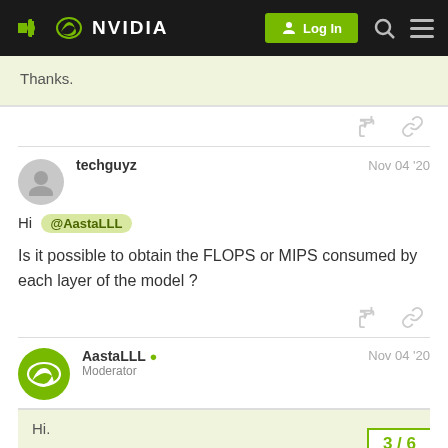NVIDIA — Log In
Thanks.
techguyz  Nov 04 '20
Hi @AastaLLL
Is it possible to obtain the FLOPS or MIPS consumed by each layer of the model ?
AastaLLL  Moderator  Nov 04 '20
Hi.